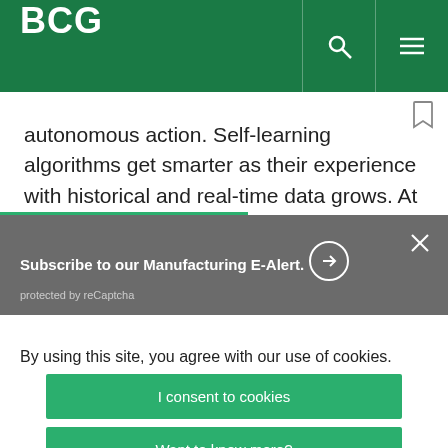BCG
autonomous action. Self-learning algorithms get smarter as their experience with historical and real-time data grows. At this stage, companies might develop a digital twin—a simulation of a specific production system or factory...
Subscribe to our Manufacturing E-Alert.
protected by reCaptcha
By using this site, you agree with our use of cookies.
I consent to cookies
Want to know more?
Read our Cookie Policy